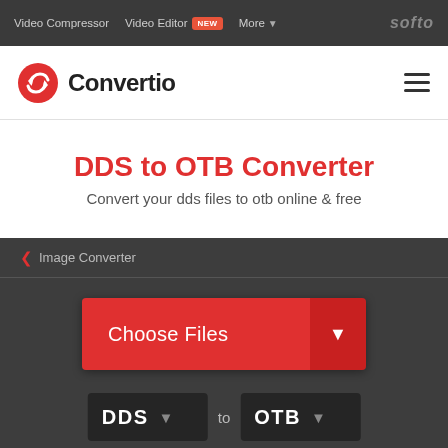Video Compressor  Video Editor NEW  More  softo
[Figure (logo): Convertio logo with red circular arrow icon and bold Convertio text]
DDS to OTB Converter
Convert your dds files to otb online & free
< Image Converter
Choose Files
DDS  to  OTB